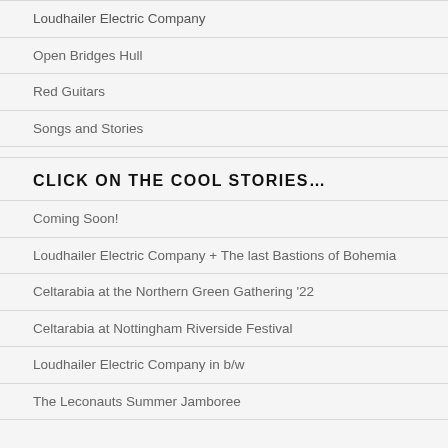Loudhailer Electric Company
Open Bridges Hull
Red Guitars
Songs and Stories
CLICK ON THE COOL STORIES…
Coming Soon!
Loudhailer Electric Company + The last Bastions of Bohemia
Celtarabia at the Northern Green Gathering '22
Celtarabia at Nottingham Riverside Festival
Loudhailer Electric Company in b/w
The Leconauts Summer Jamboree